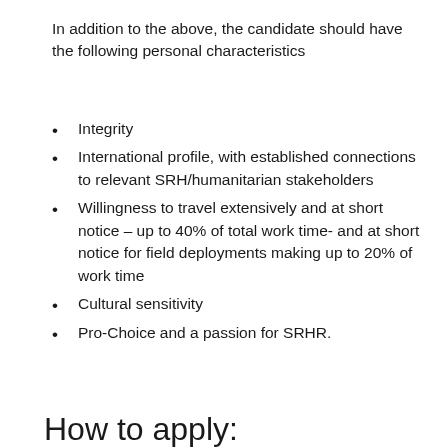In addition to the above, the candidate should have the following personal characteristics
Integrity
International profile, with established connections to relevant SRH/humanitarian stakeholders
Willingness to travel extensively and at short notice – up to 40% of total work time- and at short notice for field deployments making up to 20% of work time
Cultural sensitivity
Pro-Choice and a passion for SRHR.
How to apply: